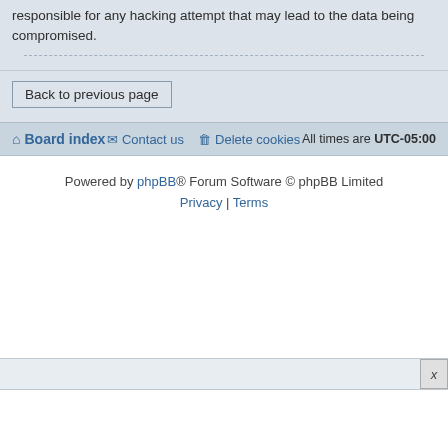responsible for any hacking attempt that may lead to the data being compromised.
Back to previous page
Board index   Contact us   Delete cookies   All times are UTC-05:00
Powered by phpBB® Forum Software © phpBB Limited
Privacy | Terms